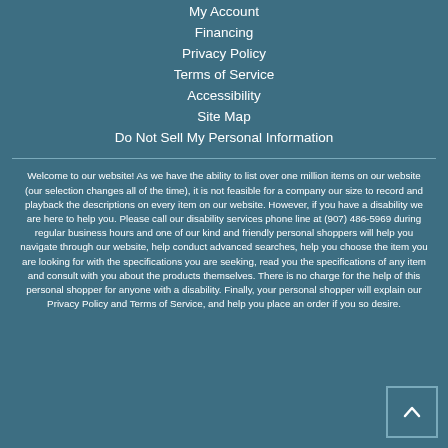My Account
Financing
Privacy Policy
Terms of Service
Accessibility
Site Map
Do Not Sell My Personal Information
Welcome to our website! As we have the ability to list over one million items on our website (our selection changes all of the time), it is not feasible for a company our size to record and playback the descriptions on every item on our website. However, if you have a disability we are here to help you. Please call our disability services phone line at (907) 486-5969 during regular business hours and one of our kind and friendly personal shoppers will help you navigate through our website, help conduct advanced searches, help you choose the item you are looking for with the specifications you are seeking, read you the specifications of any item and consult with you about the products themselves. There is no charge for the help of this personal shopper for anyone with a disability. Finally, your personal shopper will explain our Privacy Policy and Terms of Service, and help you place an order if you so desire.